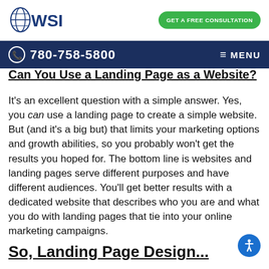[Figure (logo): WSI logo with globe icon and blue WSI text]
GET A FREE CONSULTATION
780-758-5800  MENU
Can You Use a Landing Page as a Website?
It’s an excellent question with a simple answer. Yes, you can use a landing page to create a simple website. But (and it’s a big but) that limits your marketing options and growth abilities, so you probably won’t get the results you hoped for. The bottom line is websites and landing pages serve different purposes and have different audiences. You’ll get better results with a dedicated website that describes who you are and what you do with landing pages that tie into your online marketing campaigns.
So, Landing Page Design...